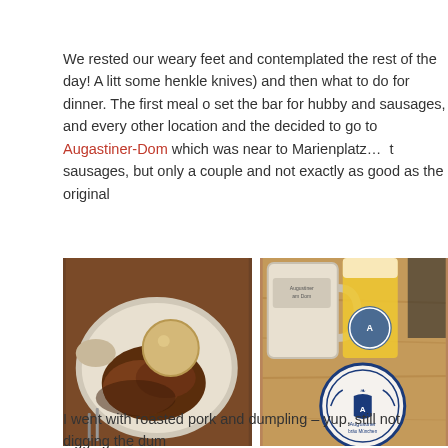We rested our weary feet and contemplated the rest of the day! A litt some henkle knives) and then what to do for dinner. The first meal o set the bar for hubby and sausages, and every other location and the decided to go to Augastiner-Dom which was near to Marienplatz…  t sausages, but only a couple and not exactly as good as the original
[Figure (photo): Two side-by-side food/drink photos from Augastiner-Dom restaurant: left photo shows a plate with a dumpling and roasted pork; right photo shows beer glasses and an Augustiner beer coaster on a wooden table.]
I went with roasted pork and dumpling – yup, still not digging the dum